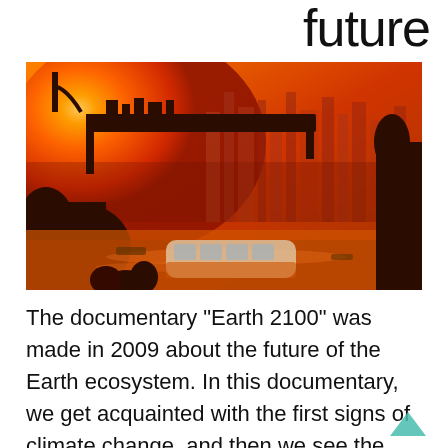future
[Figure (photo): A dramatic dystopian scene showing a flooded city with a fiery orange-red sky, silhouetted skyscrapers in the background, a partially submerged bus or vehicle in floodwaters in the foreground, dark silhouettes of people and structures, and a bright glowing sun or explosion in the upper left background.]
The documentary "Earth 2100" was made in 2009 about the future of the Earth ecosystem. In this documentary, we get acquainted with the first signs of climate change, and then we see the series of events that occur for humans and the ecosystem.